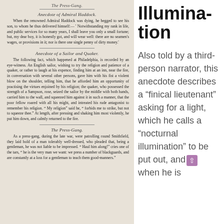The Press-Gang.
Anecdote of Admiral Haddock.
When the renowned Admiral Haddock was dying, he begged to see his son, to whom he thus delivered himself:— ' Notwithstanding my rank in life, and public services for so many years, I shall leave you only a small fortune; but, my dear boy, it is honestly got, and will wear well: there are no seamen's wages, or provisions in it; nor is there one single penny of dirty money.'
Anecdote of a Sailor and Quaker.
The following fact, which happened at Philadelphia, is recorded by an eye-witness. An English sailor, wishing to try the religion and patience of a quaker, or rather to laugh at his expence, finding him at an inn, near the fire, in conversation with several other persons, gave him with his fist a violent blow on the shoulder, telling him, that he afforded him an opportunity of practising the virtues enjoined by his religion; the quaker, who possessed the strength of a Sampson, rose, seized the sailor by the middle with both hands, carried him to the wall, and squeezed him against it in such a manner, that the poor fellow roared with all his might, and intreated his rude antagonist to remember his religion. " My religion" said he, " forbids me to strike, but not to squeeze thee." At length, after pressing and shaking him most violently, he put him down, and calmly returned to the fire.
The Press-Gang.
As a press-gang, during the late war, were patrolling round Smithfield, they laid hold of a man tolerably well-dressed, who pleaded that, being a gentleman, he was not liable to be impressed. " Haul him along!" cries one of the tars, " he is the very man we want: we press a number of blackguards, and are constantly at a loss for a gentleman to teach them good-manners."
Illumination
Also told by a third-person narrator, this anecdote describes a "finical lieutenant" asking for a light, which he calls a "nocturnal illumination" to be put out, and when he is